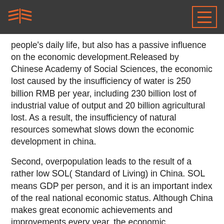[Logo and menu icon]
people's daily life, but also has a passive influence on the economic development.Released by Chinese Academy of Social Sciences, the economic lost caused by the insufficiency of water is 250 billion RMB per year, including 230 billion lost of industrial value of output and 20 billion agricultural lost. As a result, the insufficiency of natural resources somewhat slows down the economic development in china.
Second, overpopulation leads to the result of a rather low SOL( Standard of Living) in China. SOL means GDP per person, and it is an important index of the real national economic status. Although China makes great economic achievements and improvements every year, the economic achievements is not that glorious when divided by the large denominator of